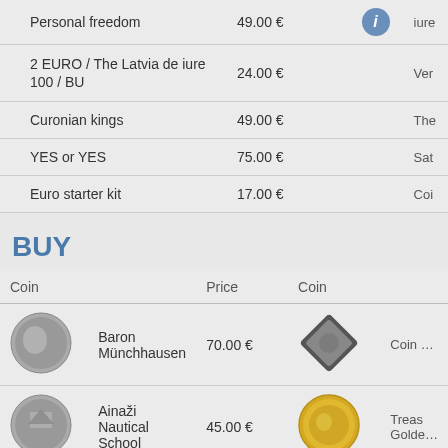| Coin | Price | Coin |
| --- | --- | --- |
| Personal freedom | 49.00 € | iure |
| 2 EURO / The Latvia de iure 100 / BU | 24.00 € | Ver |
| Curonian kings | 49.00 € | The |
| YES or YES | 75.00 € | Sat |
| Euro starter kit | 17.00 € | Coi |
BUY
| Coin |  | Price | Coin |  |
| --- | --- | --- | --- | --- |
| [coin image] | Baron Münchhausen | 70.00 € | [coin image] | Coin … |
| [coin image] | Ainaži Nautical School | 45.00 € | [coin image] | Treas Golden… |
| [coin image] | Baby Coin | 55.00 € | [coin image] | Richa… |